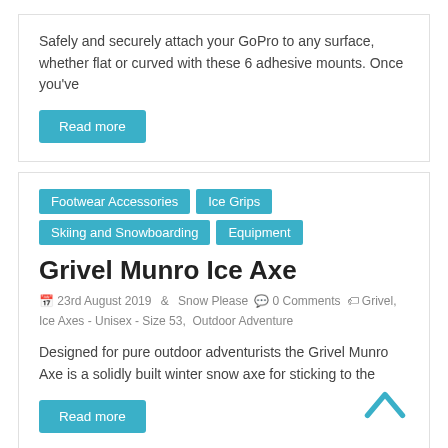Safely and securely attach your GoPro to any surface, whether flat or curved with these 6 adhesive mounts. Once you've
Read more
Footwear Accessories  Ice Grips  Skiing and Snowboarding Equipment
Grivel Munro Ice Axe
23rd August 2019  Snow Please  0 Comments  Grivel, Ice Axes - Unisex - Size 53, Outdoor Adventure
Designed for pure outdoor adventurists the Grivel Munro Axe is a solidly built winter snow axe for sticking to the
Read more